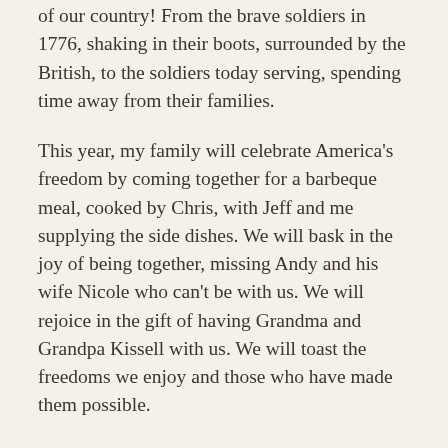of our country! From the brave soldiers in 1776, shaking in their boots, surrounded by the British, to the soldiers today serving, spending time away from their families.
This year, my family will celebrate America's freedom by coming together for a barbeque meal, cooked by Chris, with Jeff and me supplying the side dishes. We will bask in the joy of being together, missing Andy and his wife Nicole who can't be with us. We will rejoice in the gift of having Grandma and Grandpa Kissell with us. We will toast the freedoms we enjoy and those who have made them possible.
I would have loved to take Aldon to see fireworks. But his dad and Uncle Chris no longer enjoy them. The sounds and sights triggering memories from their days at war. I suspect Dad feels the same way, i know my Daddy did. Instead, we have sparklers for Aldon to enjoy and glow sticks along with fun hats. And it's more important for us to be together than